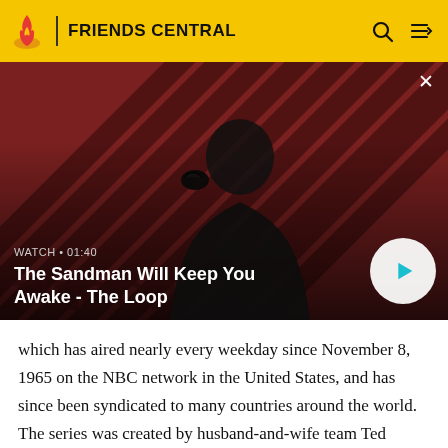FRIENDS CENTRAL
[Figure (screenshot): Video thumbnail showing a dark-clothed figure with a raven on shoulder against a diagonal red and dark stripe background. Text overlay reads WATCH • 01:40 and The Sandman Will Keep You Awake - The Loop. A play button circle is on the right.]
which has aired nearly every weekday since November 8, 1965 on the NBC network in the United States, and has since been syndicated to many countries around the world. The series was created by husband-and-wife team Ted Corday and Betty Corday along with Irna Phillips in